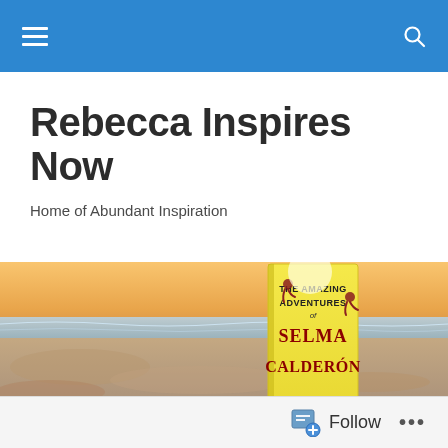Navigation bar with hamburger menu and search icon
Rebecca Inspires Now
Home of Abundant Inspiration
[Figure (photo): A yellow book titled 'The Amazing Adventures of Selma Calderón' propped up in beach sand at sunset, with ocean waves and golden sky in the background.]
Follow  ...